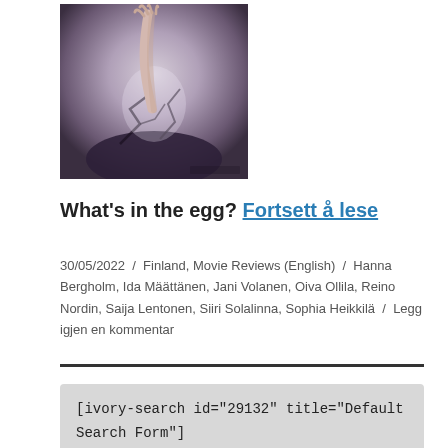[Figure (illustration): A dark artistic illustration showing a hand emerging from a cracked egg against a muted purple-grey background.]
What's in the egg? Fortsett å lese
30/05/2022 / Finland, Movie Reviews (English) / Hanna Bergholm, Ida Määttänen, Jani Volanen, Oiva Ollila, Reino Nordin, Saija Lentonen, Siiri Solalinna, Sophia Heikkilä / Legg igjen en kommentar
[ivory-search id="29132" title="Default Search Form"]